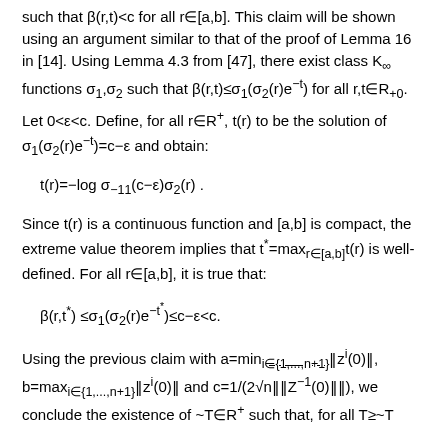such that β(r,t)<c for all r∈[a,b]. This claim will be shown using an argument similar to that of the proof of Lemma 16 in [14]. Using Lemma 4.3 from [47], there exist class K∞ functions σ₁,σ₂ such that β(r,t)≤σ₁(σ₂(r)e⁻ᵗ) for all r,t∈R₊₀.
Let 0<ε<c. Define, for all r∈R⁺, t(r) to be the solution of σ₁(σ₂(r)e⁻ᵗ)=c−ε and obtain:
Since t(r) is a continuous function and [a,b] is compact, the extreme value theorem implies that t*=max_{r∈[a,b]}t(r) is well-defined. For all r∈[a,b], it is true that:
Using the previous claim with a=min_{i∈{1,...,n+1}}‖zⁱ(0)‖, b=max_{i∈{1,...,n+1}}‖zⁱ(0)‖ and c=1/(2√n‖‖Z⁻¹(0)‖‖), we conclude the existence of ~T∈R⁺ such that, for all T≥~T